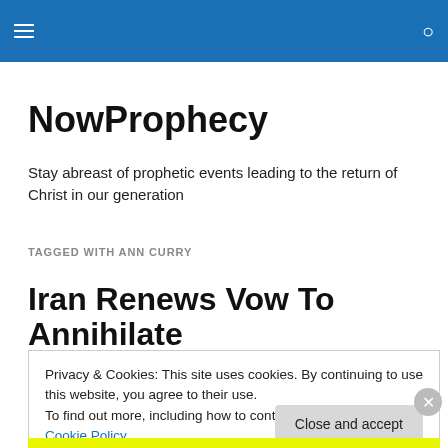NowProphecy [navigation bar with hamburger menu and search icon]
NowProphecy
Stay abreast of prophetic events leading to the return of Christ in our generation
TAGGED WITH ANN CURRY
Iran Renews Vow To Annihilate
Privacy & Cookies: This site uses cookies. By continuing to use this website, you agree to their use.
To find out more, including how to control cookies, see here: Cookie Policy
Close and accept